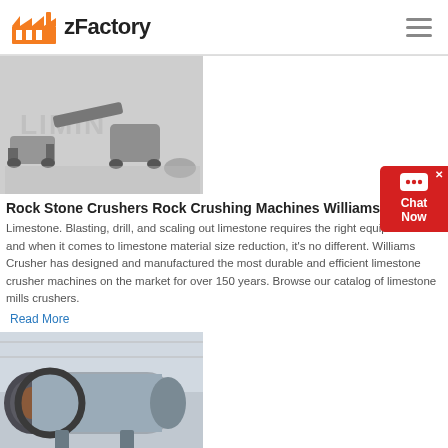zFactory
[Figure (photo): Mining/crushing machines on a light background with watermark text LIMING]
Rock Stone Crushers Rock Crushing Machines Williams ...
Limestone. Blasting, drill, and scaling out limestone requires the right equipment—and when it comes to limestone material size reduction, it's no different. Williams Crusher has designed and manufactured the most durable and efficient limestone crusher machines on the market for over 150 years. Browse our catalog of limestone mills crushers.
Read More
[Figure (photo): Large cylindrical ball mill machine in an industrial warehouse setting]